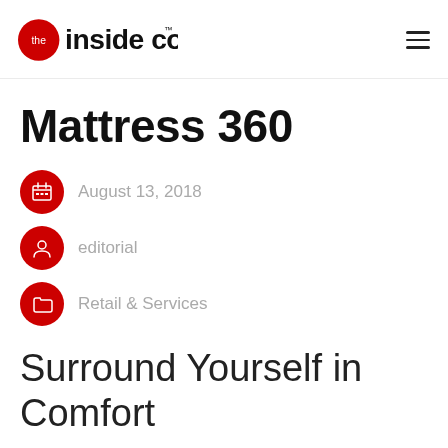the inside coup™
Mattress 360
August 13, 2018
editorial
Retail & Services
Surround Yourself in Comfort